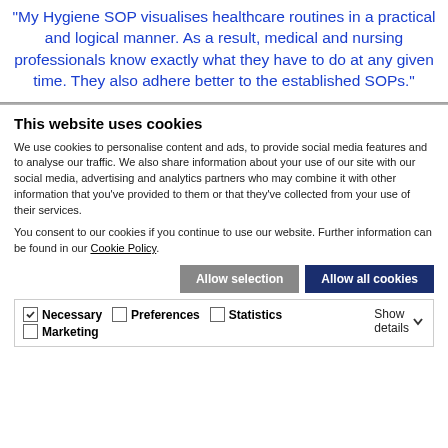My Hygiene SOP visualises healthcare routines in a practical and logical manner. As a result, medical and nursing professionals know exactly what they have to do at any given time. They also adhere better to the established SOPs."
This website uses cookies
We use cookies to personalise content and ads, to provide social media features and to analyse our traffic. We also share information about your use of our site with our social media, advertising and analytics partners who may combine it with other information that you've provided to them or that they've collected from your use of their services.
You consent to our cookies if you continue to use our website. Further information can be found in our Cookie Policy.
Allow selection | Allow all cookies
| Necessary | Preferences | Statistics | Marketing | Show details |
| --- | --- | --- | --- | --- |